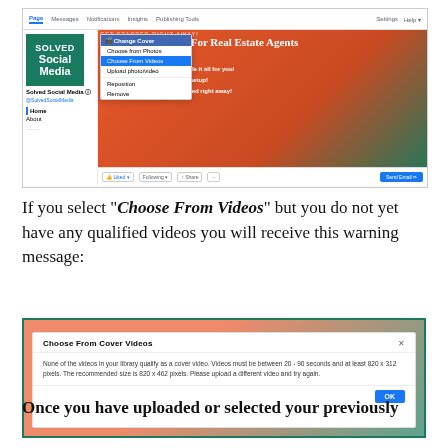[Figure (screenshot): Facebook page screenshot showing the 'Change Cover' dropdown menu with options including 'Choose from Photos', 'Choose From Videos' (highlighted in blue), 'Upload photo/video', 'Reposition', and 'Remove'. The page belongs to Solved Social Media with a real estate cover image.]
If you select “Choose From Videos” but you do not yet have any qualified videos you will receive this warning message:
[Figure (screenshot): A Facebook dialog box titled 'Choose From Cover Videos' with message: 'None of the videos in your library qualify as a cover video. Videos must be between 20 - 90 seconds and at least 820 x 312 pixels. The recommended size is 820 x 462 pixels. Please upload a different video and try again.' with an OK button.]
Once you have uploaded or selected your previously